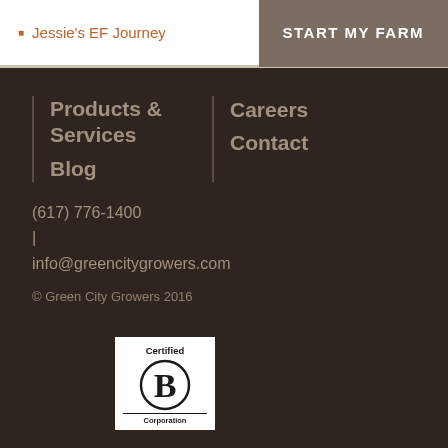Jessie's EF Journey | START MY FARM
Products & Services
Blog
Careers
Contact
(617) 776-1400 | info@greencitygrowers.com
© Green City Growers 2016
[Figure (logo): Certified B Corporation logo — white background with 'Certified' text at top, large B in circle in center, 'Corporation' text at bottom with underline]